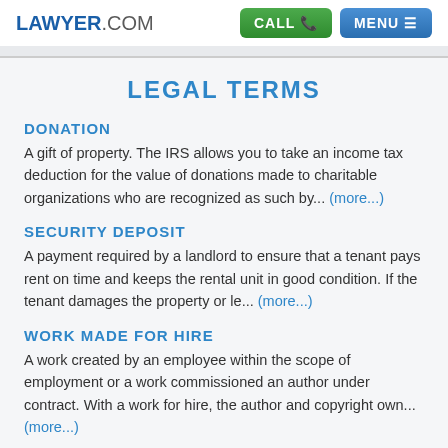LAWYER.COM | CALL | MENU
LEGAL TERMS
DONATION
A gift of property. The IRS allows you to take an income tax deduction for the value of donations made to charitable organizations who are recognized as such by... (more...)
SECURITY DEPOSIT
A payment required by a landlord to ensure that a tenant pays rent on time and keeps the rental unit in good condition. If the tenant damages the property or le... (more...)
WORK MADE FOR HIRE
A work created by an employee within the scope of employment or a work commissioned an author under contract. With a work for hire, the author and copyright own... (more...)